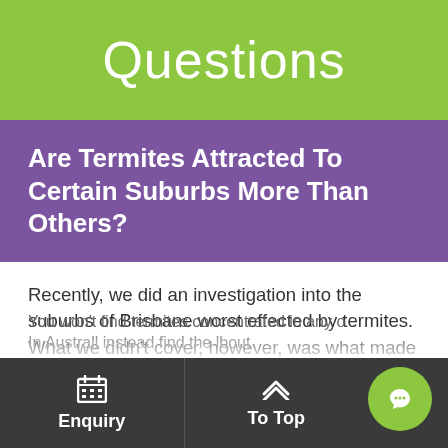Questions
Are Termites Attracted To Certain Suburbs More Than Others?
Recently, we did an investigation into the suburbs of Brisbane worst effected by termites. What we didn't cover, however, was what made these suburbs central to termite activity. Luckily, with some help from Conquer Termites Northside, you can learn everything you need to about why termites are attracted to certain suburbs. Call us on (07) 3356 8801 if you're facing any problems with termites in Rothwell.
You won't find termites concentrated in any o… In Austra… ill instead find the … bout
Enquiry  To Top